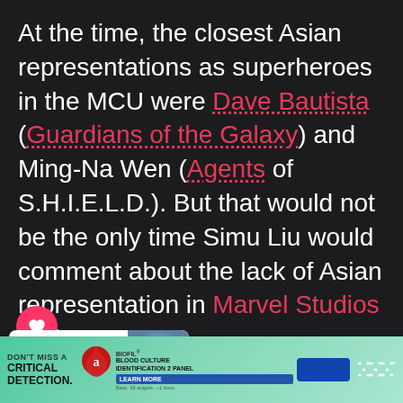At the time, the closest Asian representations as superheroes in the MCU were Dave Bautista (Guardians of the Galaxy) and Ming-Na Wen (Agents of S.H.I.E.L.D.). But that would not be the only time Simu Liu would comment about the lack of Asian representation in Marvel Studios projects.
[Figure (screenshot): Action buttons: heart/like button (pink circle with heart icon) and share button (white circle with share icon)]
[Figure (infographic): What's Next card showing 'Three more Disney films...' with a circular thumbnail image of a galaxy/space scene]
[Figure (screenshot): Advertisement banner: BIOFIL BLOOD CULTURE IDENTIFICATION 2 PANEL - DON'T MISS A CRITICAL DETECTION. LEARN MORE. bioMerieux logo. WW degree logo.]